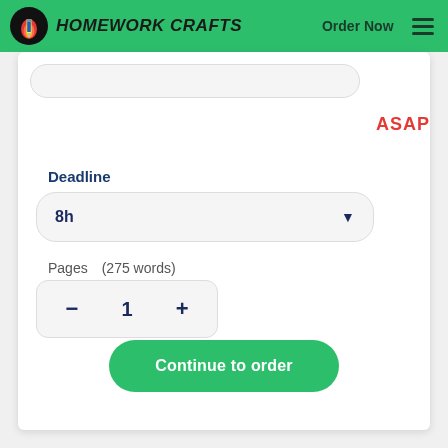HOMEWORK CRAFTS | Order Now
Deadline
ASAP
8h
Pages   (275 words)
- 1 +
Approximate price: $35
Continue to order